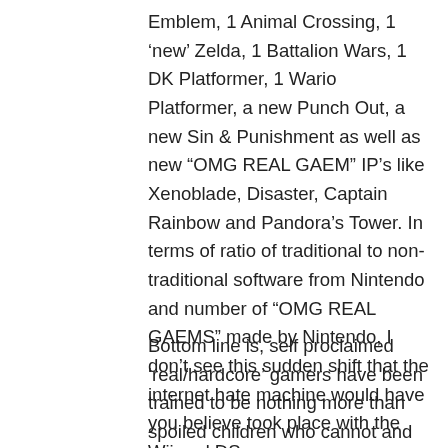Emblem, 1 Animal Crossing, 1 'new' Zelda, 1 Battalion Wars, 1 DK Platformer, 1 Wario Platformer, a new Punch Out, a new Sin & Punishment as well as new "OMG REAL GAEM" IP's like Xenoblade, Disaster, Captain Rainbow and Pandora's Tower. In terms of ratio of traditional to non-traditional software from Nintendo and number of "OMG REAL GAEMS" made by Nintendo, I don't see this sudden shift that the internet hate machine would have you believe took place with the Wii and DS.
Bottom line is, self proclaimed 'real/hardcore' gamers have been trained to be nothing more than spoiled children who cannot and will not tolerate 'the other kids' getting ANY attention. If